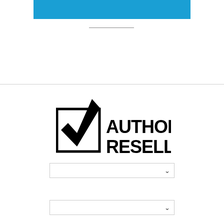[Figure (other): Blue banner rectangle at top center of page]
[Figure (logo): Authorised Reseller logo with checkbox containing a checkmark and bold text reading AUTHORISED RESELLER]
[Figure (other): Dropdown selector element with chevron arrow, first instance]
[Figure (other): Dropdown selector element with chevron arrow, second instance]